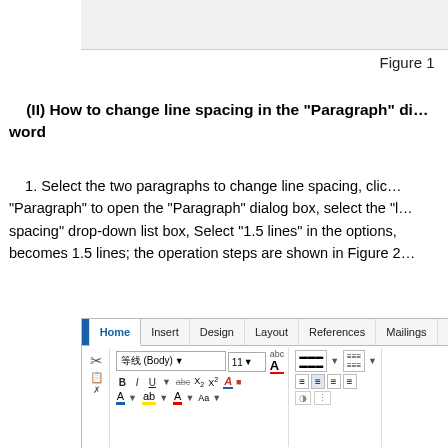[Figure (screenshot): Top portion of a Microsoft Word ribbon/window screenshot, showing a gray header area cropped at top of page]
Figure 1
(II) How to change line spacing in the "Paragraph" dialog box in word
1. Select the two paragraphs to change line spacing, click "Paragraph" to open the "Paragraph" dialog box, select the "Line spacing" drop-down list box, Select "1.5 lines" in the options, becomes 1.5 lines; the operation steps are shown in Figure 2
[Figure (screenshot): Microsoft Word ribbon screenshot showing Home, Insert, Design, Layout, References, Mailings tabs, with font controls including 等线 (Body) font, size 11, Bold, Italic, Underline buttons, and alignment icons]